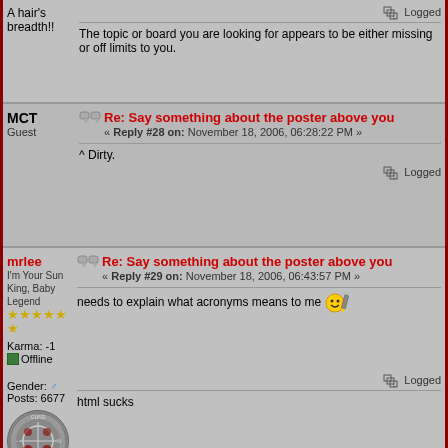A hair's breadth!!
Logged
The topic or board you are looking for appears to be either missing or off limits to you.
MCT
Guest
Re: Say something about the poster above you
« Reply #28 on: November 18, 2006, 06:28:22 PM »
^ Dirty.
Logged
mrlee
I'm Your Sun King, Baby Legend
Karma: -1
Offline
Gender: Male
Posts: 6677
Re: Say something about the poster above you
« Reply #29 on: November 18, 2006, 06:43:57 PM »
needs to explain what acronyms means to me
Logged
html sucks